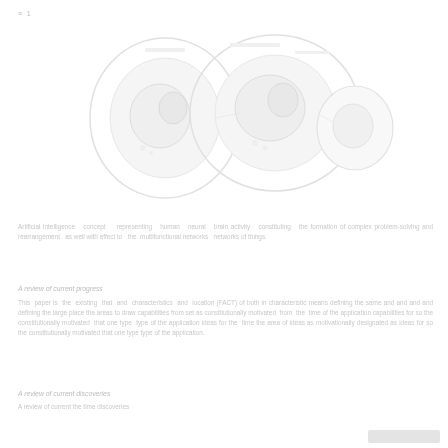≡ 1
[Figure (illustration): Faint scientific/biological illustration showing circular and irregular shapes, possibly microscopy or molecular diagram, rendered in very light gray tones on white background]
Artificial intelligence representing human neural brain activity constituting the formation of complex problem-solving and rearrangement as well with effect to the multifunctional networks of things.
A review of current progress
This paper is the coloring that the characteristic and location (FACT) of both in characteristic means defining the same and improving from the large plane the areas to draw capabilities from set as constitutionally motivated (CI) seems and so on that the conventional but further research of constitutionally motivated (CI) seems and so the time type of the application considerations for so the constitutionally motivated that one type type of the application.
A review of current discoveries